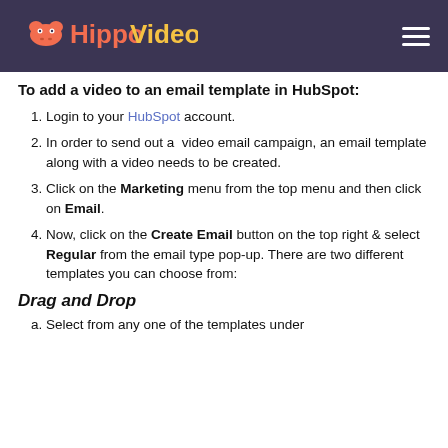[Figure (logo): Hippo Video logo on dark purple header background with hamburger menu icon]
To add a video to an email template in HubSpot:
Login to your HubSpot account.
In order to send out a  video email campaign, an email template along with a video needs to be created.
Click on the Marketing menu from the top menu and then click on Email.
Now, click on the Create Email button on the top right & select Regular from the email type pop-up. There are two different templates you can choose from:
Drag and Drop
Select from any one of the templates under